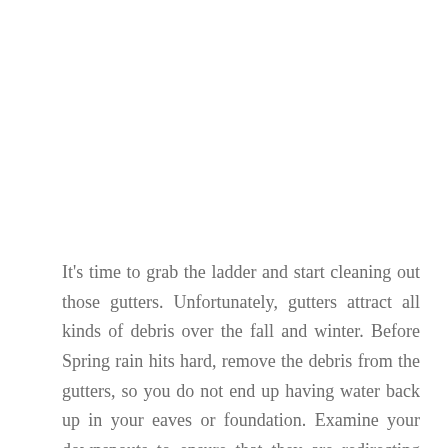It's time to grab the ladder and start cleaning out those gutters. Unfortunately, gutters attract all kinds of debris over the fall and winter. Before Spring rain hits hard, remove the debris from the gutters, so you do not end up having water back up in your eaves or foundation. Examine your downspouts to ensure that they are redirecting water away from your property,